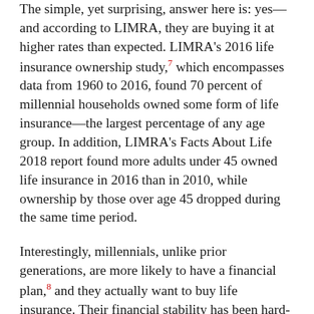The simple, yet surprising, answer here is: yes—and according to LIMRA, they are buying it at higher rates than expected. LIMRA's 2016 life insurance ownership study,7 which encompasses data from 1960 to 2016, found 70 percent of millennial households owned some form of life insurance—the largest percentage of any age group. In addition, LIMRA's Facts About Life 2018 report found more adults under 45 owned life insurance in 2016 than in 2010, while ownership by those over age 45 dropped during the same time period.
Interestingly, millennials, unlike prior generations, are more likely to have a financial plan,8 and they actually want to buy life insurance. Their financial stability has been hard-won, and they are eager to protect what they have built. However, they are also the age group least likely to have been approached to buy life insurance in the past 12 months, according to LIMRA. And yet, despite the millennials' purported preference for online research and purchasing, 74 percent would still prefer to talk to a financial adviser, either on the phone or in person, when it